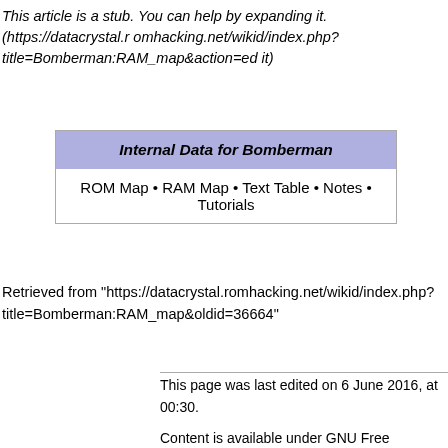This article is a stub. You can help by expanding it. (https://datacrystal.romhacking.net/wikid/index.php?title=Bomberman:RAM_map&action=edit)
| Internal Data for Bomberman |
| --- |
| ROM Map • RAM Map • Text Table • Notes • Tutorials |
Retrieved from "https://datacrystal.romhacking.net/wikid/index.php?title=Bomberman:RAM_map&oldid=36664"
This page was last edited on 6 June 2016, at 00:30.

Content is available under GNU Free Documentation License 1.2 unless otherwise noted.